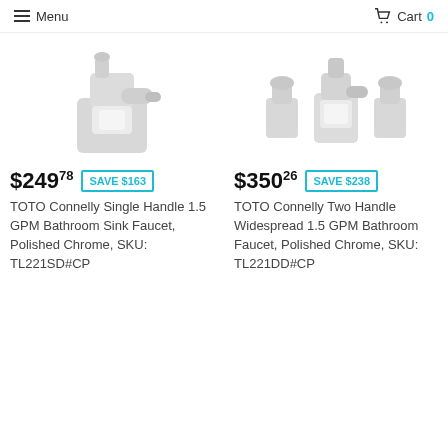Menu   Cart 0
[Figure (photo): TOTO Connelly single handle bathroom faucet in polished chrome/white finish, viewed from front-side angle]
[Figure (photo): TOTO Connelly two handle widespread bathroom faucet in polished chrome/white finish, viewed from above/front showing two handles and spout]
$249.78  SAVE $163
TOTO Connelly Single Handle 1.5 GPM Bathroom Sink Faucet, Polished Chrome, SKU: TL221SD#CP
$350.26  SAVE $238
TOTO Connelly Two Handle Widespread 1.5 GPM Bathroom Faucet, Polished Chrome, SKU: TL221DD#CP